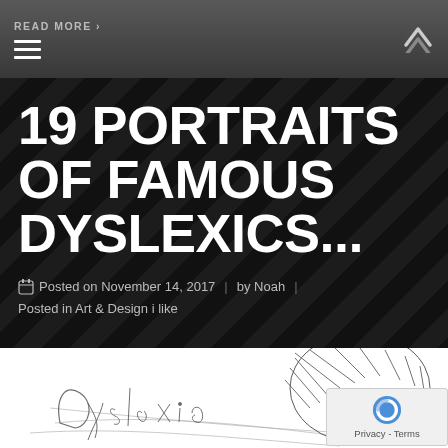READ MORE >
19 PORTRAITS OF FAMOUS DYSLEXICS...
Posted on November 14, 2017 | by Noah | Posted in Art & Design i like
[Figure (illustration): Pen sketch portrait of a man with curly hair, overlaid with handwritten 'Dyslexia' text in cursive]